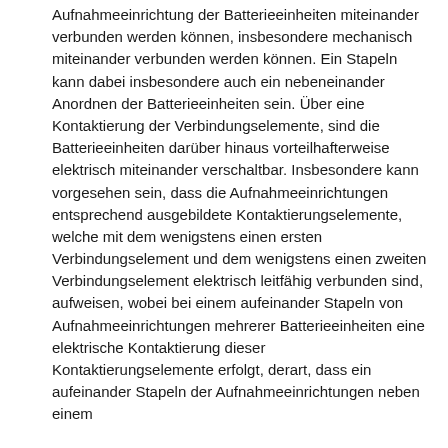Aufnahmeeinrichtung der Batterieeinheiten miteinander verbunden werden können, insbesondere mechanisch miteinander verbunden werden können. Ein Stapeln kann dabei insbesondere auch ein nebeneinander Anordnen der Batterieeinheiten sein. Über eine Kontaktierung der Verbindungselemente, sind die Batterieeinheiten darüber hinaus vorteilhafterweise elektrisch miteinander verschaltbar. Insbesondere kann vorgesehen sein, dass die Aufnahmeeinrichtungen entsprechend ausgebildete Kontaktierungselemente, welche mit dem wenigstens einen ersten Verbindungselement und dem wenigstens einen zweiten Verbindungselement elektrisch leitfähig verbunden sind, aufweisen, wobei bei einem aufeinander Stapeln von Aufnahmeeinrichtungen mehrerer Batterieeinheiten eine elektrische Kontaktierung dieser Kontaktierungselemente erfolgt, derart, dass ein aufeinander Stapeln der Aufnahmeeinrichtungen neben einem mechanischen Miteinander auch elektrisch leitend